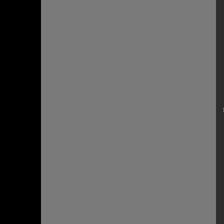unacceptable. We weren't afraid to try anything
"The Van Halens understood the heavy rock approach and were proponents of that which became punk rock, that crash and burn approach."
From the chapter "Wars And Remembrance"
"One of the reasons that Van Halen merchandise was so successful, as was the music, is because it was generated from the same source. I never considered it to be any different. It was a pure approach. Same as we created the songs. Pure. The music was not designed to sell. We went against the grain from beginning to end. It was designed, so to speak, to tell a story. And because of that, I'm convinced now, is why it's so massively popular……………….."
"The horse will find it's way to the water if the water exists. But if you dry out the pond intentionally, that's it, man, it's gone. All you'll have is a story."
"I'm very proud of what was that band and what was that show and what it did mean to people. It disgusts me that it has turned into the complete opposite. That it now represents everything that